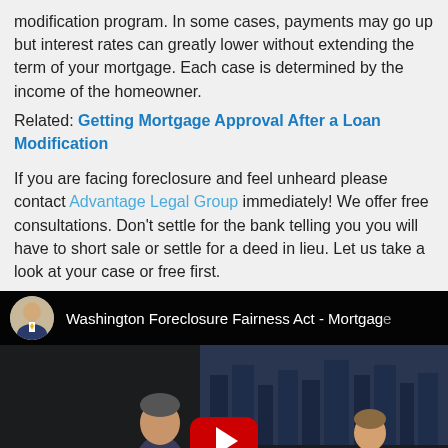modification program. In some cases, payments may go up but interest rates can greatly lower without extending the term of your mortgage. Each case is determined by the income of the homeowner.
Related: Getting Mortgage Approval After a Loan Modification
If you are facing foreclosure and feel unheard please contact Advantage Legal Group immediately! We offer free consultations. Don't settle for the bank telling you you will have to short sale or settle for a deed in lieu. Let us take a look at your case or free first.
[Figure (screenshot): YouTube video embed showing 'Washington Foreclosure Fairness Act - Mortgage' with a man in suit as presenter avatar, and a scene with people in an office/meeting room with a play button overlay.]